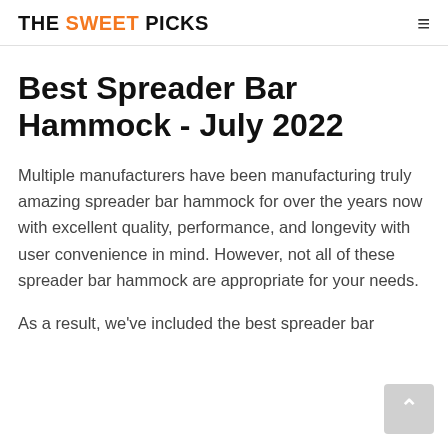THE SWEET PICKS
Best Spreader Bar Hammock - July 2022
Multiple manufacturers have been manufacturing truly amazing spreader bar hammock for over the years now with excellent quality, performance, and longevity with user convenience in mind. However, not all of these spreader bar hammock are appropriate for your needs.
As a result, we've included the best spreader bar